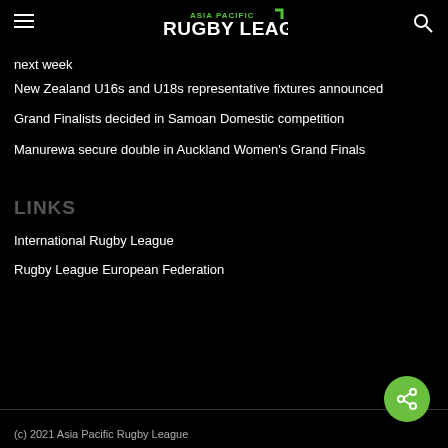ASIA PACIFIC RUGBY LEAGUE
next week
New Zealand U16s and U18s representative fixtures announced
Grand Finalists decided in Samoan Domestic competition
Manurewa secure double in Auckland Women's Grand Finals
LINKS
International Rugby League
Rugby League European Federation
(c) 2021 Asia Pacific Rugby League